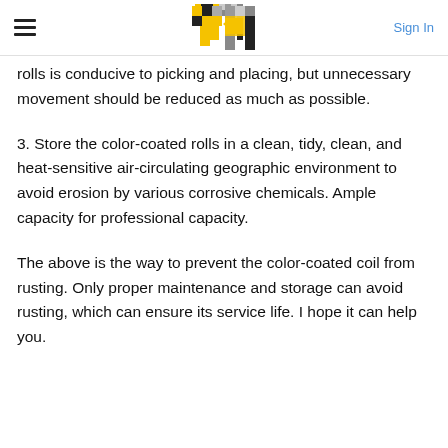TN | Sign In
rolls is conducive to picking and placing, but unnecessary movement should be reduced as much as possible.
3. Store the color-coated rolls in a clean, tidy, clean, and heat-sensitive air-circulating geographic environment to avoid erosion by various corrosive chemicals. Ample capacity for professional capacity.
The above is the way to prevent the color-coated coil from rusting. Only proper maintenance and storage can avoid rusting, which can ensure its service life. I hope it can help you.